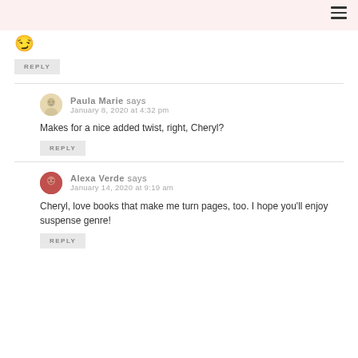[Figure (other): Emoji smirk face icon]
REPLY
Paula Marie says
January 8, 2020 at 4:32 pm
Makes for a nice added twist, right, Cheryl?
REPLY
Alexa Verde says
January 14, 2020 at 9:19 am
Cheryl, love books that make me turn pages, too. I hope you'll enjoy suspense genre!
REPLY